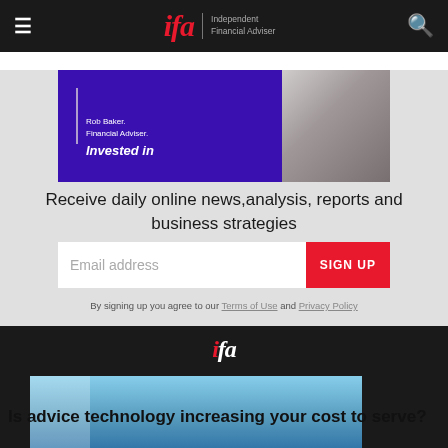ifa | Independent Financial Adviser
[Figure (illustration): IFA advertisement banner: purple background with Rob Baker Financial Adviser text and photo of older man]
Receive daily online news,analysis, reports and business strategies
Email address
SIGN UP
By signing up you agree to our Terms of Use and Privacy Policy
[Figure (illustration): IFA footer logo in white with blue sky and plant image below]
Is advice technology increasing your cost to serve?